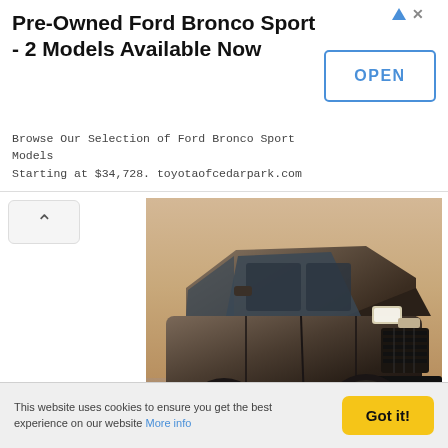[Figure (screenshot): Advertisement banner for Pre-Owned Ford Bronco Sport with OPEN button]
[Figure (photo): 2023 Hyundai Palisade SUV in dark gray/bronze color photographed against a desert/sandy background, three-quarter front view]
Hyundai unveiled its notably superior 2023 Palisade SUV in a worldwide debut on the 2022 New York International Auto Show. The new Palisade gives freshened indoors and outside layout cues, new infotainment and protection functions, and superior driving force help structures.The 2023 Palisade arrives
This website uses cookies to ensure you get the best experience on our website More info
Got it!